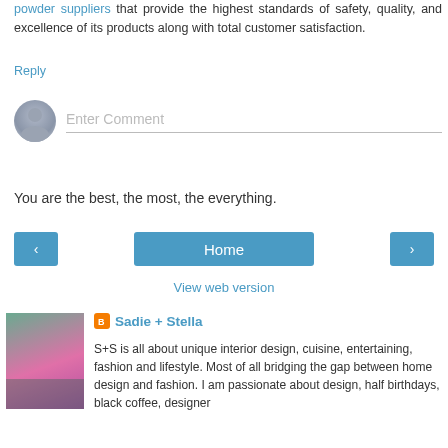powder suppliers that provide the highest standards of safety, quality, and excellence of its products along with total customer satisfaction.
Reply
[Figure (other): Comment input field with user avatar circle placeholder and 'Enter Comment' placeholder text]
You are the best, the most, the everything.
[Figure (other): Navigation buttons: left arrow, Home center button, right arrow]
View web version
[Figure (photo): Photo of a person sitting on a pink chair in a colorful room]
Sadie + Stella
S+S is all about unique interior design, cuisine, entertaining, fashion and lifestyle. Most of all bridging the gap between home design and fashion. I am passionate about design, half birthdays, black coffee, designer